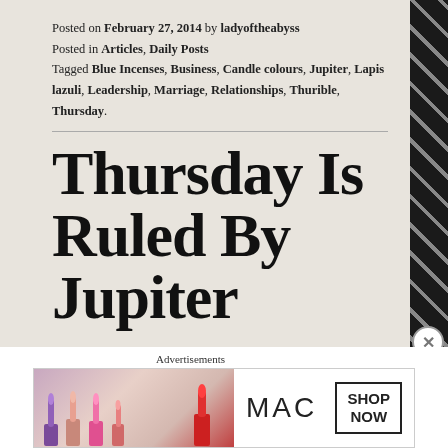Posted on February 27, 2014 by ladyoftheabyss
Posted in Articles, Daily Posts
Tagged Blue Incenses, Business, Candle colours, Jupiter, Lapis lazuli, Leadership, Marriage, Relationships, Thurible, Thursday.
Thursday Is Ruled By Jupiter
Thursday Is Ruled By Jupiter
Advertisements
[Figure (photo): MAC cosmetics advertisement showing lipsticks, MAC logo, and SHOP NOW button]